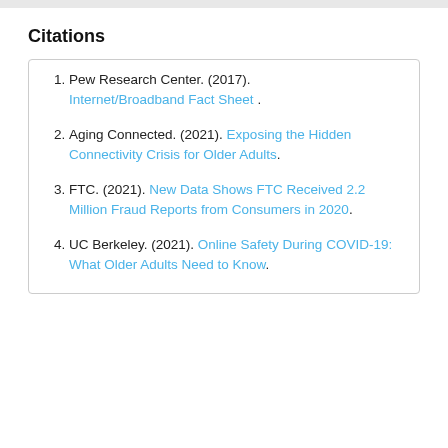Citations
Pew Research Center. (2017). Internet/Broadband Fact Sheet .
Aging Connected. (2021). Exposing the Hidden Connectivity Crisis for Older Adults.
FTC. (2021). New Data Shows FTC Received 2.2 Million Fraud Reports from Consumers in 2020.
UC Berkeley. (2021). Online Safety During COVID-19: What Older Adults Need to Know.